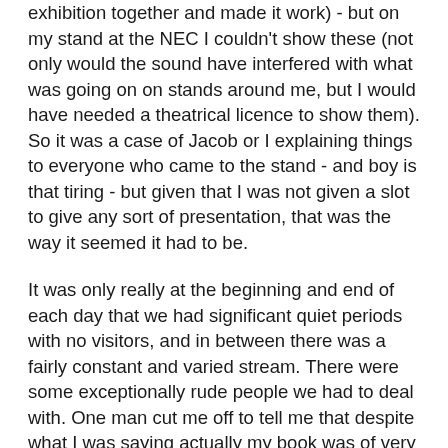exhibition together and made it work) - but on my stand at the NEC I couldn't show these (not only would the sound have interfered with what was going on on stands around me, but I would have needed a theatrical licence to show them). So it was a case of Jacob or I explaining things to everyone who came to the stand - and boy is that tiring - but given that I was not given a slot to give any sort of presentation, that was the way it seemed it had to be.
It was only really at the beginning and end of each day that we had significant quiet periods with no visitors, and in between there was a fairly constant and varied stream. There were some exceptionally rude people we had to deal with. One man cut me off to tell me that despite what I was saying actually my book was of very narrow interest (and this after he had only just set eyes on the cover) and when I asked him whether he thought Jeremy Vine would have so wholeheartedly recommended it if it was of such limited appeal, his mouth twitched as if he'd just chewed on a very bitter lemon (with perhaps an electrode and a wasp in it) and he flounced off without another word. A woman came onto our stand and both Jacob & I thought her shouted query was